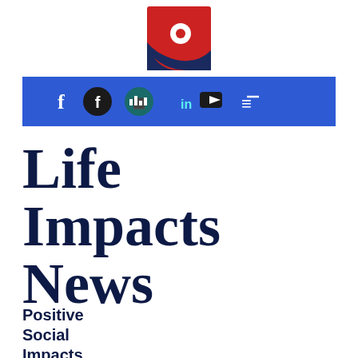[Figure (logo): Life Impacts News logo — red/dark-blue square with a white circle and curved shape]
[Figure (infographic): Blue banner with social media icons: Facebook letter f, Facebook icon, chart/analytics icon, LinkedIn icon, YouTube icon, RSS/wifi icon]
Life Impacts News
Positive Social Impacts